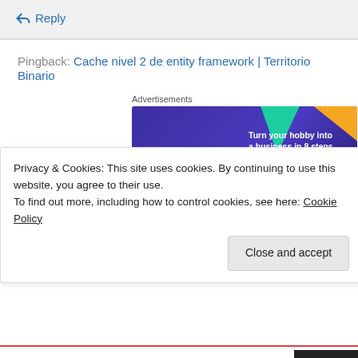↵ Reply
Pingback: Cache nivel 2 de entity framework | Territorio Binario
Advertisements
[Figure (illustration): WooCommerce banner ad: Turn your hobby into a business in 8 steps]
meisam on September 30, 2014 at 1:08 pm
Privacy & Cookies: This site uses cookies. By continuing to use this website, you agree to their use.
To find out more, including how to control cookies, see here: Cookie Policy
Close and accept